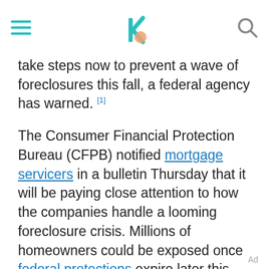[hamburger menu] [logo] [search icon]
take steps now to prevent a wave of foreclosures this fall, a federal agency has warned. [1]
The Consumer Financial Protection Bureau (CFPB) notified mortgage servicers in a bulletin Thursday that it will be paying close attention to how the companies handle a looming foreclosure crisis. Millions of homeowners could be exposed once federal protections expire later this year.
Ad